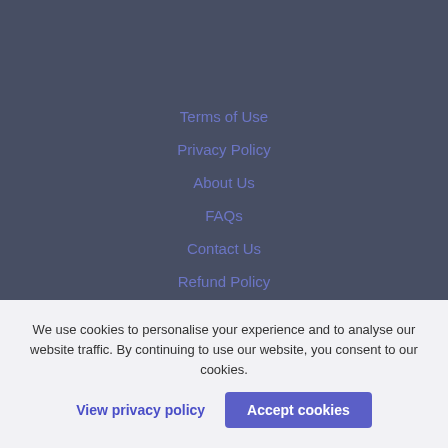Terms of Use
Privacy Policy
About Us
FAQs
Contact Us
Refund Policy
We use cookies to personalise your experience and to analyse our website traffic. By continuing to use our website, you consent to our cookies.
View privacy policy
Accept cookies